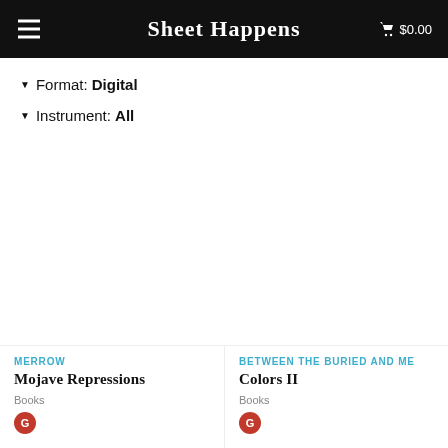Sheet Happens  $0.00
Format: Digital
Instrument: All
MERROW
Mojave Repressions
Books
G
BETWEEN THE BURIED AND ME
Colors II
Books
G